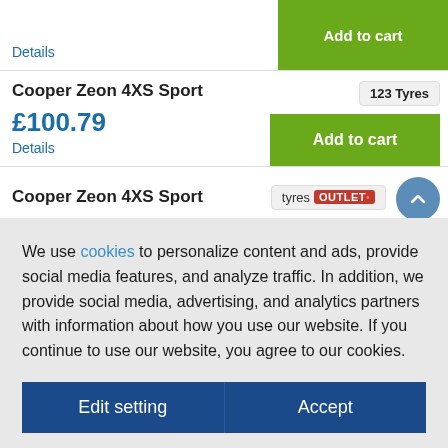Details | Add to cart
Cooper Zeon 4XS Sport — 123 Tyres — £100.79 — Details — Add to cart
Cooper Zeon 4XS Sport — tyres OUTLET
We use cookies to personalize content and ads, provide social media features, and analyze traffic. In addition, we provide social media, advertising, and analytics partners with information about your use our website. If you continue to use our website, you agree to our cookies.
Edit setting | Accept